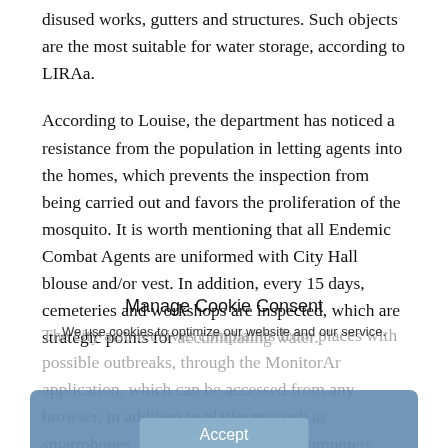disused works, gutters and structures. Such objects are the most suitable for water storage, according to LIRAa.
According to Louise, the department has noticed a resistance from the population in letting agents into the homes, which prevents the inspection from being carried out and favors the proliferation of the mosquito. It is worth mentioning that all Endemic Combat Agents are uniformed with City Hall blouse and/or vest. In addition, every 15 days, cemeteries and workshops are inspected, which are strategic points for accumulating water.
The city also receives complaints from places with possible outbreaks, through the MonitorAr application, which can be accessed from any browser, in addition to platforms such as smartphones, tablets, notebooks and computers.
Manage Cookie Consent
We use cookies to optimize our website and our service.
Accept
Cookie Policy